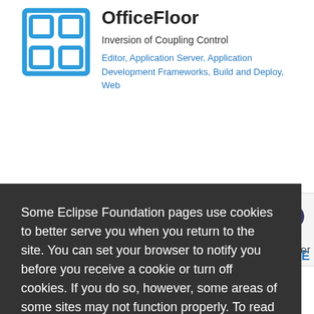[Figure (logo): OfficeFloor logo - blue grid/window icon]
OfficeFloor
Inversion of Coupling Control
Editor, Application Server, Application Development Frameworks, Build and Deploy, Web
Some Eclipse Foundation pages use cookies to better serve you when you return to the site. You can set your browser to notify you before you receive a cookie or turn off cookies. If you do so, however, some areas of some sites may not function properly. To read Eclipse Foundation Privacy Policy click here.